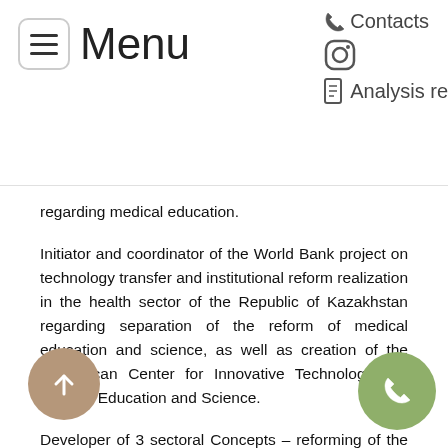Menu | Contacts | Analysis re...
regarding medical education.
Initiator and coordinator of the World Bank project on technology transfer and institutional reform realization in the health sector of the Republic of Kazakhstan regarding separation of the reform of medical education and science, as well as creation of the Republican Center for Innovative Technologies in Medical Education and Science.
Developer of 3 sectoral Concepts – reforming of the medical education of the Republic of Kazakhstan 2006-2010, development of the medical education of the Republic of Kazakhstan 2011-2015, development of the medical science of the Republic of Kazakhstan 2007-2012.
He also worked as a post-graduate student, assistant, associate professor, professor, and head of the pathologic physiology department at Astana